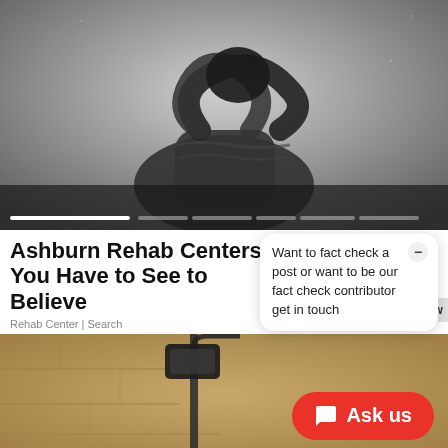[Figure (photo): Black and white photo of a person sitting against a wall, head bowed down, hands clasped over their head in a distressed pose. Slider navigation bar visible at the bottom of the image.]
Ashburn Rehab Centers You Have to See to Believe
Rehab Center | Search
Want to fact check a post or want to be our fact check contributor get in touch
Now
[Figure (photo): Partial view of a building exterior with warm sandy/tan stone walls and what appears to be a street lamp or lantern fixture. An 'Ask us' button overlay is visible in the lower right corner.]
Ask us